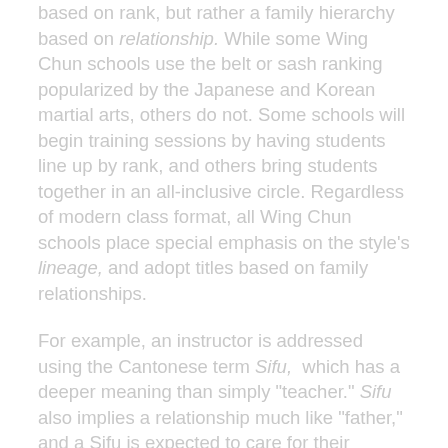based on rank, but rather a family hierarchy based on relationship. While some Wing Chun schools use the belt or sash ranking popularized by the Japanese and Korean martial arts, others do not. Some schools will begin training sessions by having students line up by rank, and others bring students together in an all-inclusive circle. Regardless of modern class format, all Wing Chun schools place special emphasis on the style's lineage, and adopt titles based on family relationships.
For example, an instructor is addressed using the Cantonese term Sifu, which has a deeper meaning than simply "teacher." Sifu also implies a relationship much like "father," and a Sifu is expected to care for their students much like a father cares for his children. Similarly, a student is expected to show respect and loyalty to their Sifu, similar to a child's bond to a parent, and not just a simple business arrangement of a teacher who is being paid for